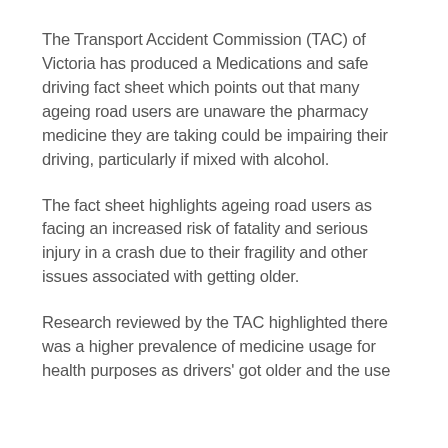The Transport Accident Commission (TAC) of Victoria has produced a Medications and safe driving fact sheet which points out that many ageing road users are unaware the pharmacy medicine they are taking could be impairing their driving, particularly if mixed with alcohol.
The fact sheet highlights ageing road users as facing an increased risk of fatality and serious injury in a crash due to their fragility and other issues associated with getting older.
Research reviewed by the TAC highlighted there was a higher prevalence of medicine usage for health purposes as drivers' got older and the use